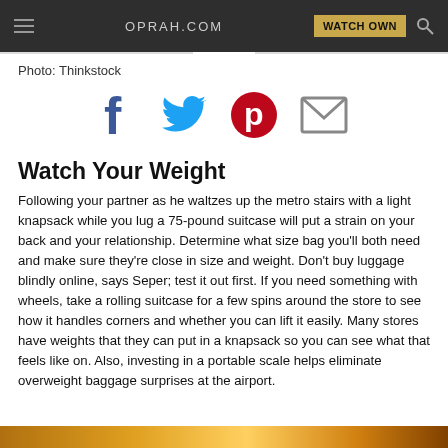OPRAH.COM  WATCH OWN
Photo: Thinkstock
[Figure (infographic): Social share icons: Facebook, Twitter, Pinterest, Email]
Watch Your Weight
Following your partner as he waltzes up the metro stairs with a light knapsack while you lug a 75-pound suitcase will put a strain on your back and your relationship. Determine what size bag you'll both need and make sure they're close in size and weight. Don't buy luggage blindly online, says Seper; test it out first. If you need something with wheels, take a rolling suitcase for a few spins around the store to see how it handles corners and whether you can lift it easily. Many stores have weights that they can put in a knapsack so you can see what that feels like on. Also, investing in a portable scale helps eliminate overweight baggage surprises at the airport.